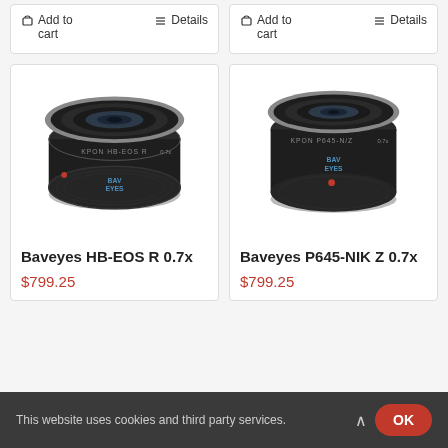Add to cart    Details
Add to cart    Details
[Figure (photo): Baveyes HB-EOS R 0.7x lens adapter, black with silver ring, KPON HB-EOS R label, Baveyes logo]
Baveyes HB-EOS R 0.7x
$799.25
[Figure (photo): Baveyes P645-NIK Z 0.7x lens adapter, black with silver ring, KPON P645-N/Z label, Baveyes logo]
Baveyes P645-NIK Z 0.7x
$799.25
This website uses cookies and third party services.
OK